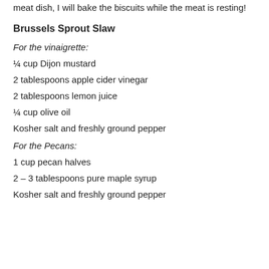meat dish, I will bake the biscuits while the meat is resting!
Brussels Sprout Slaw
For the vinaigrette:
¼ cup Dijon mustard
2 tablespoons apple cider vinegar
2 tablespoons lemon juice
¼ cup olive oil
Kosher salt and freshly ground pepper
For the Pecans:
1 cup pecan halves
2 – 3 tablespoons pure maple syrup
Kosher salt and freshly ground pepper